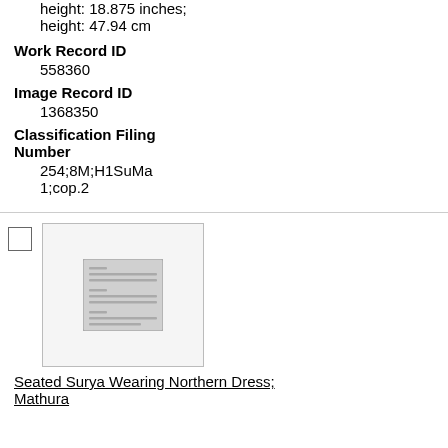height: 18.875 inches; height: 47.94 cm
Work Record ID
558360
Image Record ID
1368350
Classification Filing Number
254;8M;H1SuMa 1;cop.2
[Figure (other): Thumbnail placeholder image with a list/document icon]
Seated Surya Wearing Northern Dress; Mathura